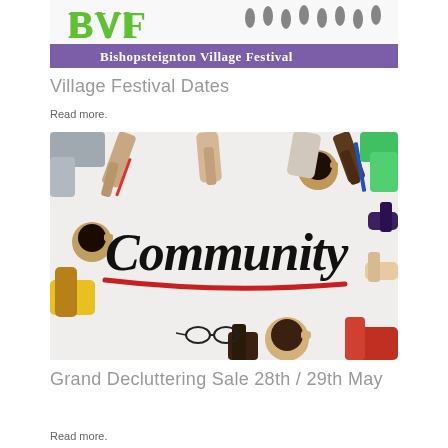[Figure (illustration): Bishopsteignton Village Festival banner with colorful BVF letters and silhouettes of people, purple background strip with 'Bishopsteignton Village Festival' text]
Village Festival Dates
Read more.
[Figure (photo): Overhead view of diverse people's hands around a white table with the word 'Community' written in large script with a red underline, coffee cups and glasses visible]
Grand Decluttering Sale 28th / 29th May
Read more.